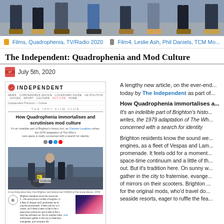[Figure (photo): Top banner photo showing legs and feet of people standing, scooter/mod culture theme]
Films, Quadrophenia, TV/Radio 2020   Film4, Leslie Ash, Phil Daniels, TCM Mo...
The Independent: Quadrophenia and Mod Culture
July 5th, 2020
[Figure (screenshot): Screenshot of The Independent article webpage showing 'How Quadrophenia immortalises and scrutinises mod culture' with photo of mods on scooters and The Independent logo]
A lengthy new article, on the ever-end... today by The Independent as part of...
How Quadrophenia immortalises a...
It's an indelible part of Brighton's histo... writes, the 1979 adaptation of The Wh... concerned with a search for identity
Brighton residents know the sound we... engines, as a fleet of Vespas and Lam... promenade. It feels odd for a moment... space-time continuum and a little of th... out. But it's tradition here. On sunny w... gather in the city to fraternise, evange... of mirrors on their scooters. Brighton... for the original mods, who'd travel do... seaside resorts, eager to ruffle the fea...